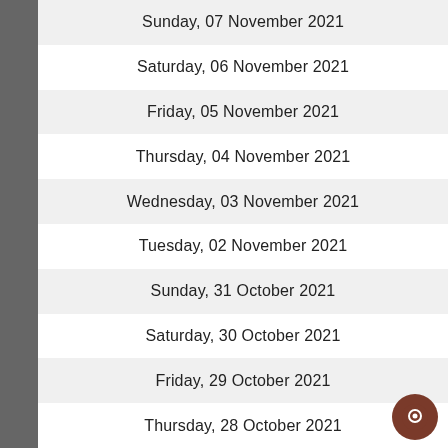Sunday, 07 November 2021
Saturday, 06 November 2021
Friday, 05 November 2021
Thursday, 04 November 2021
Wednesday, 03 November 2021
Tuesday, 02 November 2021
Sunday, 31 October 2021
Saturday, 30 October 2021
Friday, 29 October 2021
Thursday, 28 October 2021